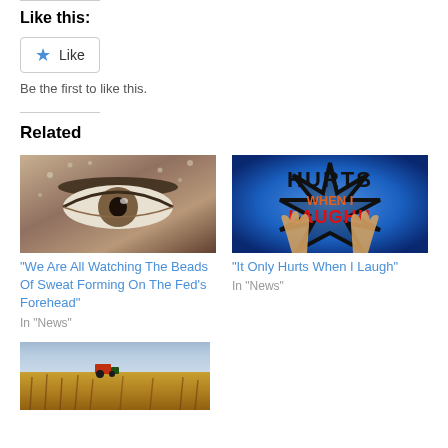Like this:
[Figure (screenshot): Like button widget with blue star icon and 'Like' text]
Be the first to like this.
Related
[Figure (photo): Close-up of a man's eye with sweat beads on face]
"We Are All Watching The Beads Of Sweat Forming On The Fed's Forehead"
In "News"
[Figure (photo): Book or movie cover: HURTS WHEN I LAUGH!! with hands raised, blue background]
"It Only Hurts When I Laugh"
In "News"
[Figure (photo): Farm field with tractor and harvested corn stalks]